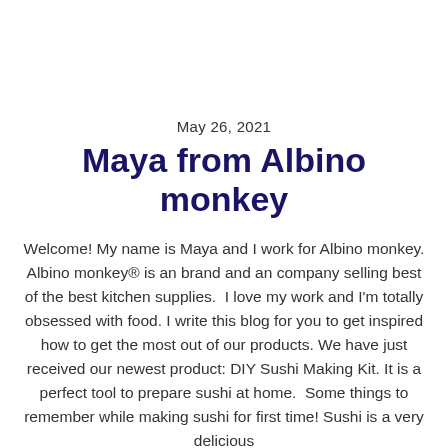May 26, 2021
Maya from Albino monkey
Welcome! My name is Maya and I work for Albino monkey. Albino monkey® is an brand and an company selling best of the best kitchen supplies.  I love my work and I'm totally obsessed with food. I write this blog for you to get inspired how to get the most out of our products. We have just received our newest product: DIY Sushi Making Kit. It is a perfect tool to prepare sushi at home.  Some things to remember while making sushi for first time! Sushi is a very delicious